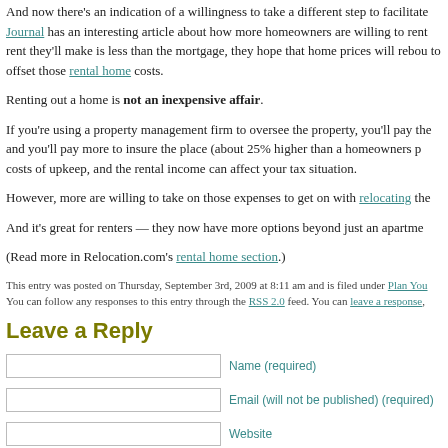And now there's an indication of a willingness to take a different step to facilitate Journal has an interesting article about how more homeowners are willing to rent rent they'll make is less than the mortgage, they hope that home prices will rebou to offset those rental home costs.
Renting out a home is not an inexpensive affair.
If you're using a property management firm to oversee the property, you'll pay the and you'll pay more to insure the place (about 25% higher than a homeowners p costs of upkeep, and the rental income can affect your tax situation.
However, more are willing to take on those expenses to get on with relocating the
And it's great for renters — they now have more options beyond just an apartme
(Read more in Relocation.com's rental home section.)
This entry was posted on Thursday, September 3rd, 2009 at 8:11 am and is filed under Plan You You can follow any responses to this entry through the RSS 2.0 feed. You can leave a response,
Leave a Reply
Name (required) [input field]
Email (will not be published) (required) [input field]
Website [input field]
[textarea]